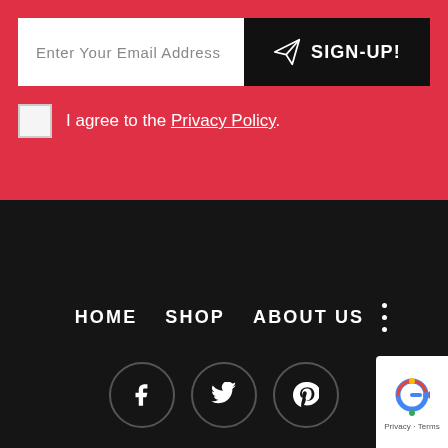Enter Your Email Address
SIGN-UP!
I agree to the Privacy Policy.
HOME   SHOP   ABOUT US   ⋮
[Figure (illustration): Social media icons: Facebook, Twitter, Pinterest in circular outlines]
[Figure (logo): reCAPTCHA badge with Google logo and Privacy/Terms text]